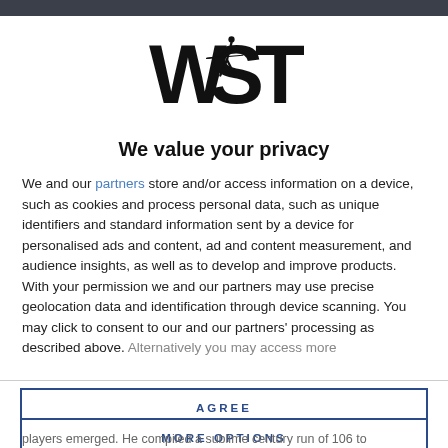[Figure (logo): WST logo — stylized bold letters W, S, T with a snooker player silhouette]
We value your privacy
We and our partners store and/or access information on a device, such as cookies and process personal data, such as unique identifiers and standard information sent by a device for personalised ads and content, ad and content measurement, and audience insights, as well as to develop and improve products. With your permission we and our partners may use precise geolocation data and identification through device scanning. You may click to consent to our and our partners' processing as described above. Alternatively you may access more
AGREE
MORE OPTIONS
players emerged. He compiled a sublime century run of 106 to